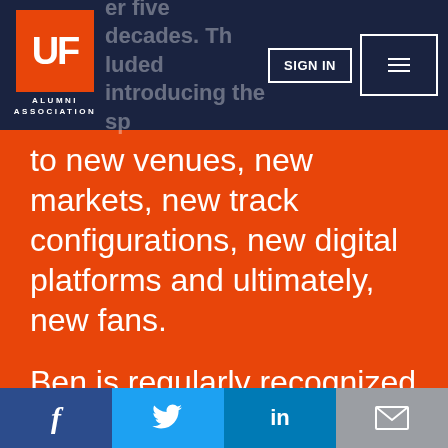UF Alumni Association — Navigation bar with SIGN IN button and menu
to new venues, new markets, new track configurations, new digital platforms and ultimately, new fans.
Ben is regularly recognized for his leadership, most recently he was Sports Business Journal's "New Voices Under
Social share bar: Facebook, Twitter, LinkedIn, Email